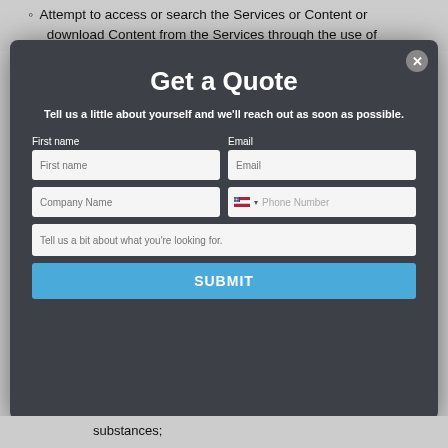Attempt to access or search the Services or Content or download Content from the Services through the use of
Get a Quote
Tell us a little about yourself and we'll reach out as soon as possible.
First name
Email
First name [placeholder]
Email [placeholder]
Company Name [placeholder]
Phone Number [placeholder]
Tell us a bit about what you're looking for. [placeholder]
SUBMIT
substances;